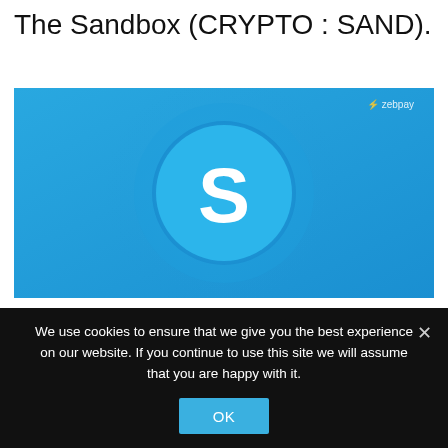The Sandbox (CRYPTO : SAND).
[Figure (screenshot): Screenshot of The Sandbox (SAND) crypto token promotional image on ZebPay. Blue background with a circular coin logo featuring a white bold letter 'S' in the center. ZebPay logo visible in top right corner.]
We use cookies to ensure that we give you the best experience on our website. If you continue to use this site we will assume that you are happy with it.